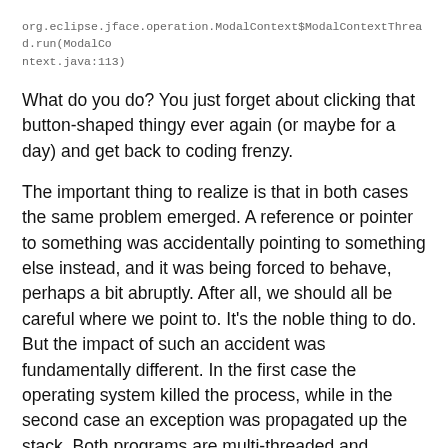org.eclipse.jface.operation.ModalContext$ModalContextThread.run(ModalContext.java:113)
What do you do? You just forget about clicking that button-shaped thingy ever again (or maybe for a day) and get back to coding frenzy.
The important thing to realize is that in both cases the same problem emerged. A reference or pointer to something was accidentally pointing to something else instead, and it was being forced to behave, perhaps a bit abruptly. After all, we should all be careful where we point to. It's the noble thing to do. But the impact of such an accident was fundamentally different. In the first case the operating system killed the process, while in the second case an exception was propagated up the stack. Both programs are multi-threaded and therefore capable of doing many things in parallel, yet the first one could not avoid having all its threads killed because one of them messed up. Oh, the cruelty! How would that make the other threads feel, I wonder. The Java program on the other hand, rightfully punished the offending thread (to make an example perhaps), while the others were